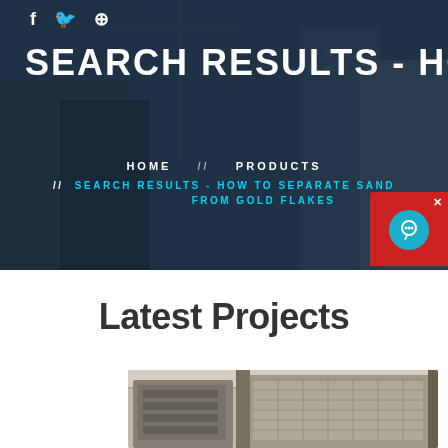[Figure (photo): Construction site background with buildings and cranes in dark blue overlay]
SEARCH RESULTS - HOW TO SEP
HOME // PRODUCTS // SEARCH RESULTS - HOW TO SEPARATE SAND FROM GOLD FLAKES
Latest Projects
[Figure (photo): Industrial machinery/equipment inside a facility, showing large mechanical processing equipment]